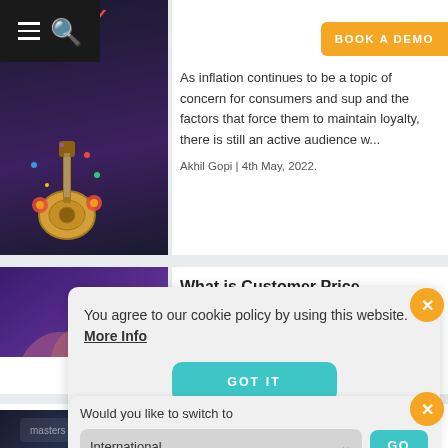[Figure (screenshot): Website article listing page with navigation overlay (hamburger menu and search icon) over a Cinco de Mayo themed image with guitar and flowers]
As inflation continues to be a topic of concern for consumers and sup[pliers] and the factors that force them to maintain loyalty, there is still an active audience w...
Akhil Gopi | 4th May, 2022.
[Figure (photo): Hand touching a smartphone screen in purple-lit environment]
What is Customer Price Perception and why it i[s]...
You agree to our cookie policy by using this website. More Info
GOT IT
hel...
Would you like to switch to
International
GO
on Amazon
[Figure (screenshot): Third article card with dark image showing device screen]